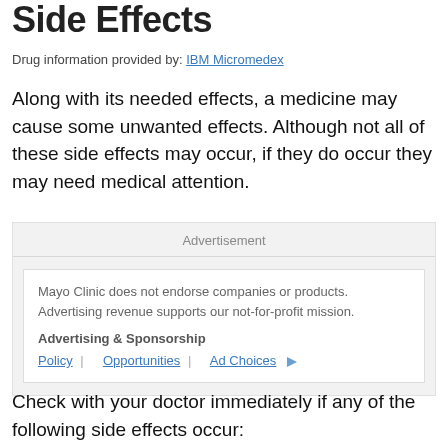Side Effects
Drug information provided by: IBM Micromedex
Along with its needed effects, a medicine may cause some unwanted effects. Although not all of these side effects may occur, if they do occur they may need medical attention.
[Figure (other): Advertisement box with Mayo Clinic disclaimer: 'Mayo Clinic does not endorse companies or products. Advertising revenue supports our not-for-profit mission.' with links to Policy, Opportunities, and Ad Choices.]
Check with your doctor immediately if any of the following side effects occur: